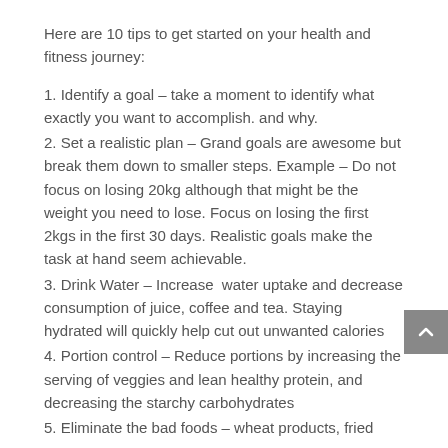Here are 10 tips to get started on your health and fitness journey:
1. Identify a goal – take a moment to identify what exactly you want to accomplish. and why.
2. Set a realistic plan – Grand goals are awesome but break them down to smaller steps. Example – Do not focus on losing 20kg although that might be the weight you need to lose. Focus on losing the first 2kgs in the first 30 days. Realistic goals make the task at hand seem achievable.
3. Drink Water – Increase  water uptake and decrease consumption of juice, coffee and tea. Staying hydrated will quickly help cut out unwanted calories
4. Portion control – Reduce portions by increasing the serving of veggies and lean healthy protein, and decreasing the starchy carbohydrates
5. Eliminate the bad foods – wheat products, fried